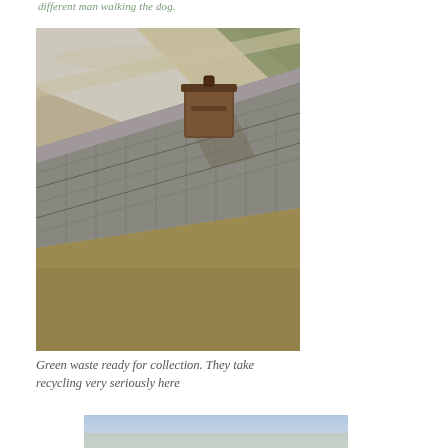different man walking the dog.
[Figure (photo): A brown compost/green waste bin sitting on top of a stone retaining wall, with a gravel path and dry grass visible in the background on a sunny day.]
Green waste ready for collection. They take recycling very seriously here
[Figure (photo): Partial view of another outdoor photograph at the bottom of the page, showing sky and landscape.]